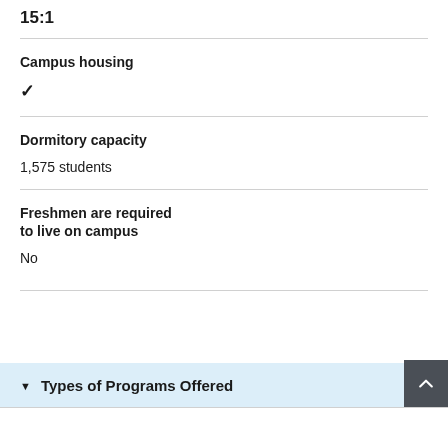15:1
Campus housing
✓
Dormitory capacity
1,575 students
Freshmen are required to live on campus
No
Types of Programs Offered